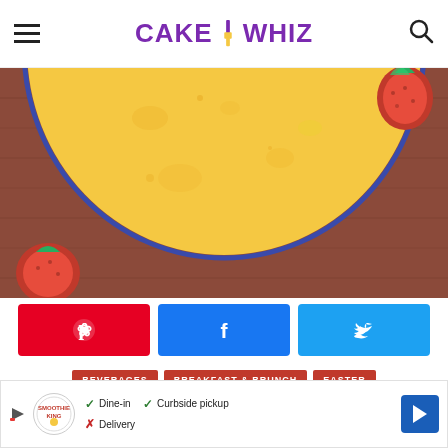CAKE WHIZ
[Figure (photo): Overhead view of a bowl with yellow custard/cream filling and red strawberries on a wooden surface]
[Figure (infographic): Social share buttons: Pinterest (red), Facebook (blue), Twitter (light blue)]
BEVERAGES  BREAKFAST & BRUNCH  EASTER
[Figure (infographic): Advertisement bar: Smoothie King ad with Dine-in, Curbside pickup, Delivery options and navigation icon]